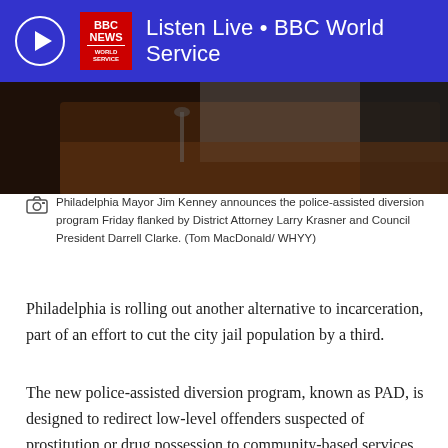Listen Live • BBC World Service
[Figure (photo): Dark photo showing a podium scene, partially cropped, with wooden furniture and dark background, showing a press conference setting.]
Philadelphia Mayor Jim Kenney announces the police-assisted diversion program Friday flanked by District Attorney Larry Krasner and Council President Darrell Clarke. (Tom MacDonald/ WHYY)
Philadelphia is rolling out another alternative to incarceration, part of an effort to cut the city jail population by a third.
The new police-assisted diversion program, known as PAD, is designed to redirect low-level offenders suspected of prostitution or drug possession to community-based services instead of prosecution and jail.